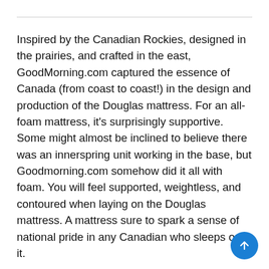Inspired by the Canadian Rockies, designed in the prairies, and crafted in the east, GoodMorning.com captured the essence of Canada (from coast to coast!) in the design and production of the Douglas mattress. For an all-foam mattress, it’s surprisingly supportive. Some might almost be inclined to believe there was an innerspring unit working in the base, but Goodmorning.com somehow did it all with foam. You will feel supported, weightless, and contoured when laying on the Douglas mattress. A mattress sure to spark a sense of national pride in any Canadian who sleeps on it.